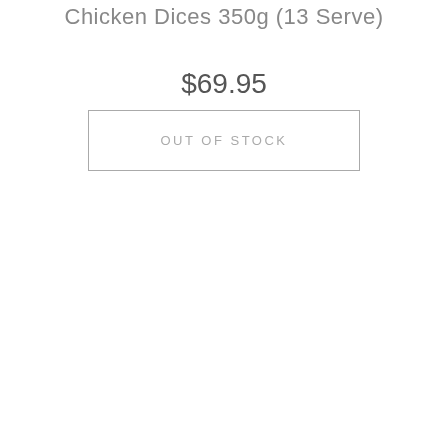Chicken Dices 350g (13 Serve)
$69.95
OUT OF STOCK